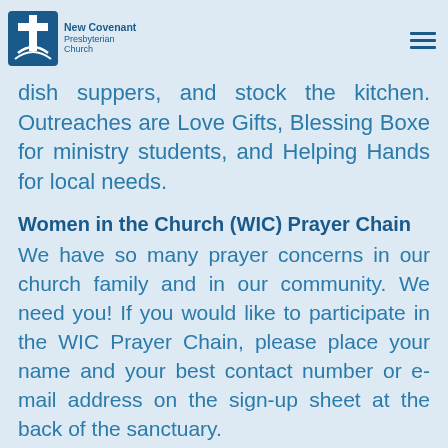New Covenant Presbyterian Church
suppers, and stock the kitchen. Outreaches are Love Gifts, Blessing Boxe for ministry students, and Helping Hands for local needs.
Women in the Church (WIC) Prayer Chain
We have so many prayer concerns in our church family and in our community. We need you! If you would like to participate in the WIC Prayer Chain, please place your name and your best contact number or e-mail address on the sign-up sheet at the back of the sanctuary.